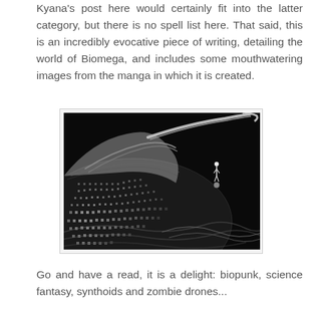Kyana's post here would certainly fit into the latter category, but there is no spell list here. That said, this is an incredibly evocative piece of writing, detailing the world of Biomega, and includes some mouthwatering images from the manga in which it is created.
[Figure (illustration): Black and white manga illustration from Biomega showing a large intricate mechanical or organic creature with a dotted/mesh texture filling most of the frame, and a small human figure standing on/near it against a dark background, with a curved spike or horn extending to the upper right.]
Go and have a read, it is a delight: biopunk, science fantasy, synthoids and zombie drones...